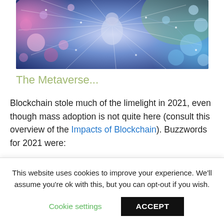[Figure (illustration): Abstract digital/metaverse illustration showing a figure surrounded by colorful bokeh circles, light rays, and network connections in pink, purple, blue, and green tones.]
The Metaverse...
Blockchain stole much of the limelight in 2021, even though mass adoption is not quite here (consult this overview of the Impacts of Blockchain). Buzzwords for 2021 were:
This website uses cookies to improve your experience. We'll assume you're ok with this, but you can opt-out if you wish.
Cookie settings   ACCEPT